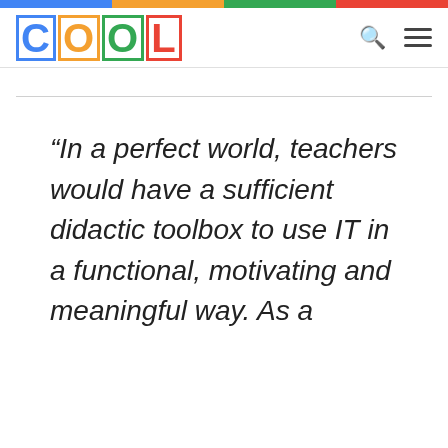COOL
“In a perfect world, teachers would have a sufficient didactic toolbox to use IT in a functional, motivating and meaningful way. As a